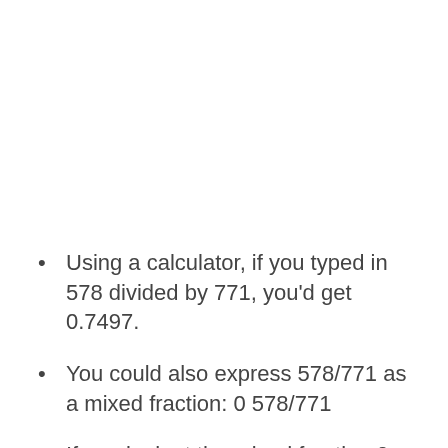Using a calculator, if you typed in 578 divided by 771, you'd get 0.7497.
You could also express 578/771 as a mixed fraction: 0 578/771
If you look at the mixed fraction 0 578/771, you'll see that the numerator is the same as the remainder (578), the denominator is our original divisor